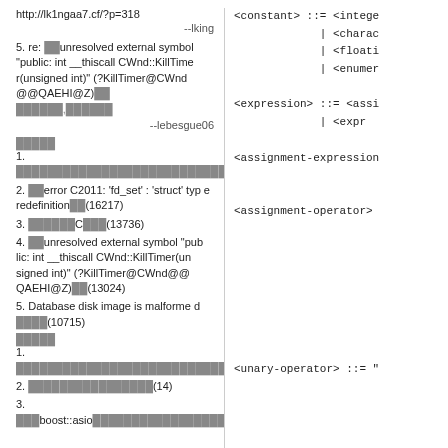http://lk1ngaa7.cf/?p=318
--lking
5. re: unresolved external symbol "public: int __thiscall CWnd::KillTimer(unsigned int)" (?KillTimer@CWnd@@QAEHI@Z)
(garbled text)
--lebesgue06
(garbled)
1. (garbled)(91204)
2. error C2011: 'fd_set' : 'struct' type redefinition(16217)
3. (garbled)C(13736)
4. unresolved external symbol "public: int __thiscall CWnd::KillTimer(unsigned int)" (?KillTimer@CWnd@@QAEHI@Z)(13024)
5. Database disk image is malformed (10715)
(garbled)
1. (garbled)(21)
2. (garbled)(14)
3. boost::asio (garbled) tcp
<constant> ::= <integer>
             | <charac
             | <floati
             | <enumer
<expression> ::= <assi
             | <expr
<assignment-expression
<assignment-operator>
<unary-operator> ::= "